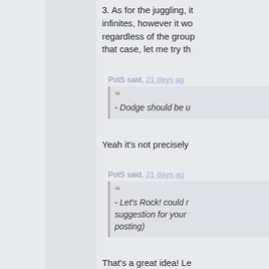3. As for the juggling, it infinites, however it wo regardless of the group that case, let me try th
PotS said, 21 days ago
- Dodge should be u
Yeah it's not precisely
PotS said, 21 days ago
- Let's Rock! could r suggestion for your posting)
That's a great idea! Le AzuFight characters to making mantenaince u